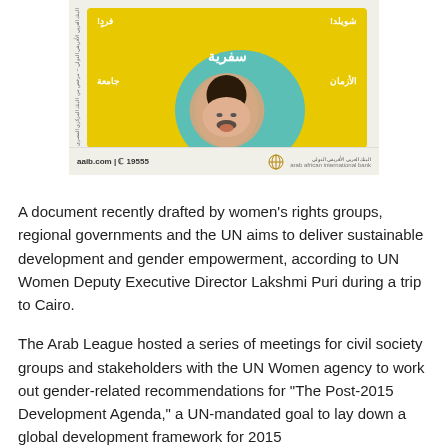[Figure (photo): Advertisement from Arab African International Bank (aaib.com | 19555) showing a woman with an open mouth expression surrounded by Arabic text on a yellow and teal background.]
A document recently drafted by women's rights groups, regional governments and the UN aims to deliver sustainable development and gender empowerment, according to UN Women Deputy Executive Director Lakshmi Puri during a trip to Cairo.
The Arab League hosted a series of meetings for civil society groups and stakeholders with the UN Women agency to work out gender-related recommendations for "The Post-2015 Development Agenda," a UN-mandated goal to lay down a global development framework for 2015